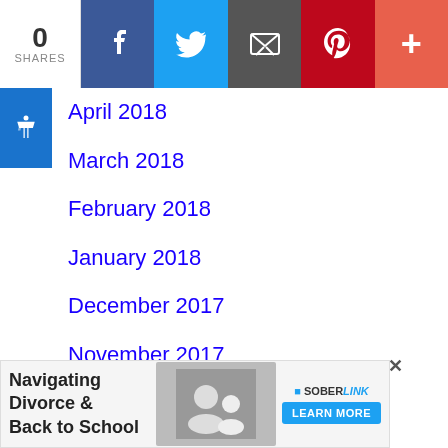0 SHARES
April 2018
March 2018
February 2018
January 2018
December 2017
November 2017
October 2017
September 2017
August 2017
July 2017
[Figure (infographic): Advertisement banner: Navigating Divorce & Back to School, SoberLink Learn More]
Navigating Divorce & Back to School